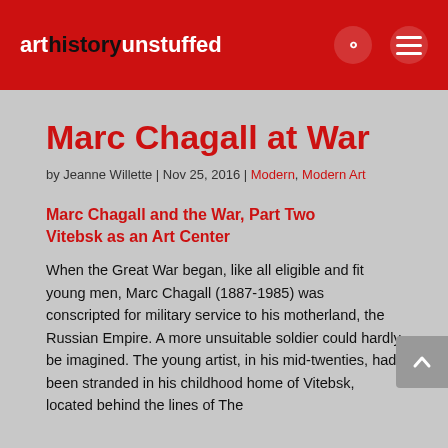arthistoryunstuffed
Marc Chagall at War
by Jeanne Willette | Nov 25, 2016 | Modern, Modern Art
Marc Chagall and the War, Part Two
Vitebsk as an Art Center
When the Great War began, like all eligible and fit young men, Marc Chagall (1887-1985) was conscripted for military service to his motherland, the Russian Empire. A more unsuitable soldier could hardly be imagined. The young artist, in his mid-twenties, had been stranded in his childhood home of Vitebsk, located behind the lines of The